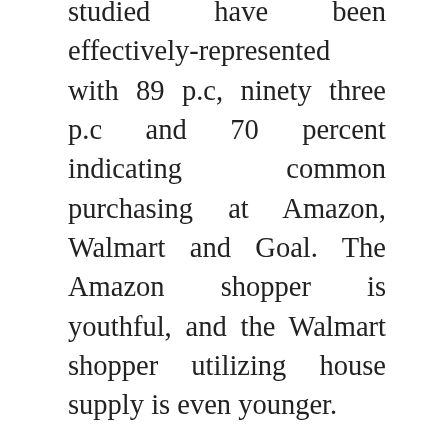studied have been effectively-represented with 89 p.c, ninety three p.c and 70 percent indicating common purchasing at Amazon, Walmart and Goal. The Amazon shopper is youthful, and the Walmart shopper utilizing house supply is even younger.
Within the days main as much as Black Friday, monitor product roundups so you can compare Walmart's prices to other retailers. In Canada, Walmart was established in 1994 by way of the acquisition of the Woolco Chain and has grown to 400 shops nationwide serving more than 1.2 million prospects day by day.